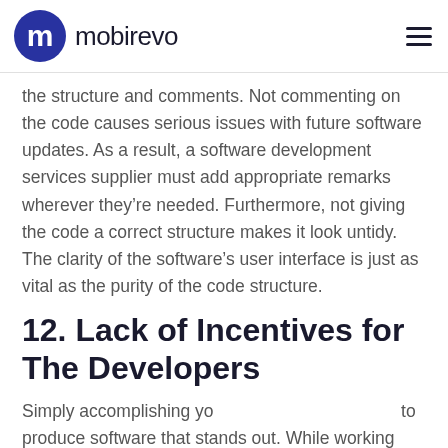mobirevo
the structure and comments. Not commenting on the code causes serious issues with future software updates. As a result, a software development services supplier must add appropriate remarks wherever they’re needed. Furthermore, not giving the code a correct structure makes it look untidy. The clarity of the software’s user interface is just as vital as the purity of the code structure.
12. Lack of Incentives for The Developers
Simply accomplishing your goals is not sufficient to produce software that stands out. While working on a software development project, management must